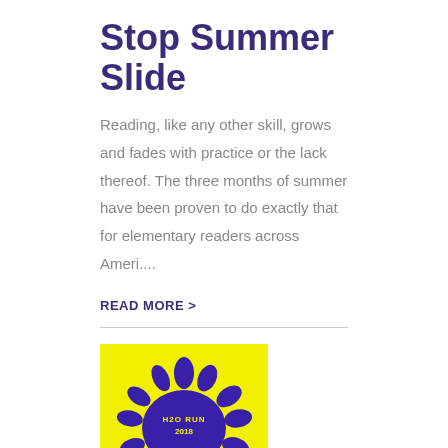Stop Summer Slide
Reading, like any other skill, grows and fades with practice or the lack thereof. The three months of summer have been proven to do exactly that for elementary readers across Ameri....
READ MORE >
[Figure (logo): Yellow square background with a blue paint splat graphic. Text reads 'H2O RUN 2018' in the center of the splat.]
H2O Run (Video)
The H20 run was a huge success raising over $21,000! Thank you to all of our students, families and sponsors for